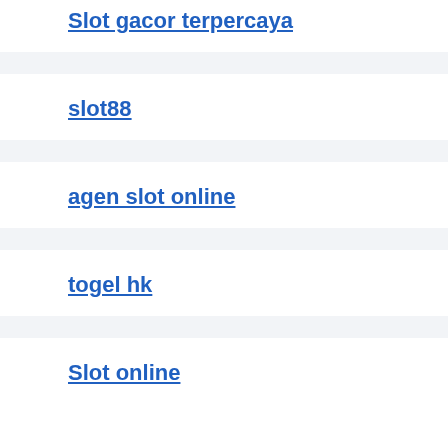Slot gacor terpercaya
slot88
agen slot online
togel hk
Slot online